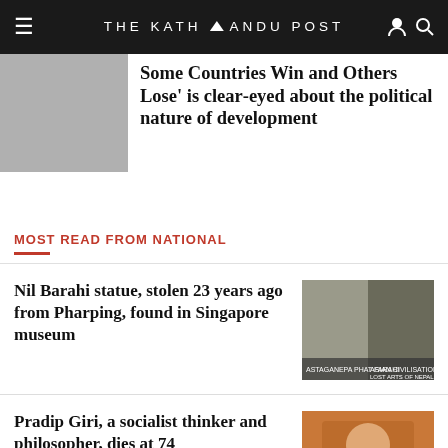THE KATHMANDU POST
Some Countries Win and Others Lose' is clear-eyed about the political nature of development
MOST READ FROM NATIONAL
Nil Barahi statue, stolen 23 years ago from Pharping, found in Singapore museum
Pradip Giri, a socialist thinker and philosopher, dies at 74